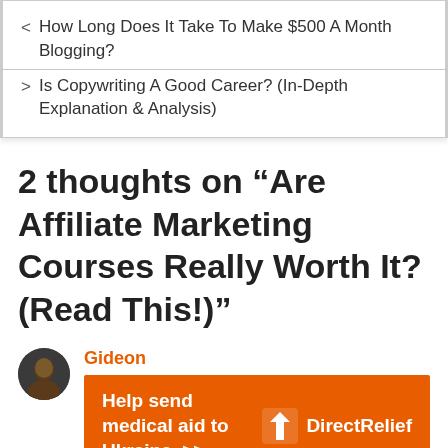< How Long Does It Take To Make $500 A Month Blogging?
> Is Copywriting A Good Career? (In-Depth Explanation & Analysis)
2 thoughts on “Are Affiliate Marketing Courses Really Worth It? (Read This!)”
Gideon
[Figure (infographic): Orange advertisement banner: 'Help send medical aid to Ukraine >>' with Direct Relief logo on right]